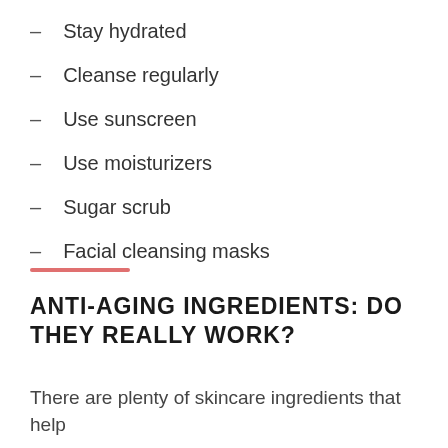Stay hydrated
Cleanse regularly
Use sunscreen
Use moisturizers
Sugar scrub
Facial cleansing masks
ANTI-AGING INGREDIENTS: DO THEY REALLY WORK?
There are plenty of skincare ingredients that help